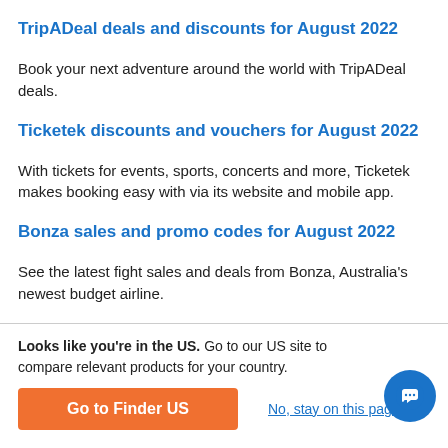TripADeal deals and discounts for August 2022
Book your next adventure around the world with TripADeal deals.
Ticketek discounts and vouchers for August 2022
With tickets for events, sports, concerts and more, Ticketek makes booking easy with via its website and mobile app.
Bonza sales and promo codes for August 2022
See the latest fight sales and deals from Bonza, Australia's newest budget airline.
Looks like you're in the US. Go to our US site to compare rele­vant products for your country.
Go to Finder US
No, stay on this page